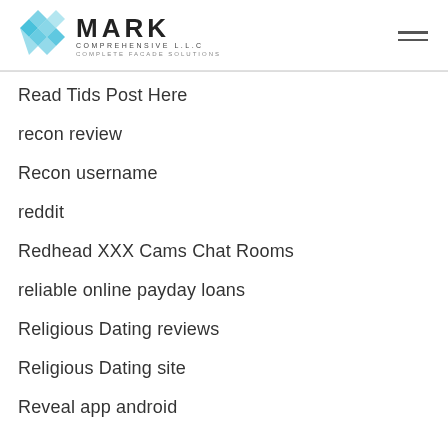MARK COMPREHENSIVE L.L.C — COMPLETE FACADE SOLUTIONS
Read Tids Post Here
recon review
Recon username
reddit
Redhead XXX Cams Chat Rooms
reliable online payday loans
Religious Dating reviews
Religious Dating site
Reveal app android